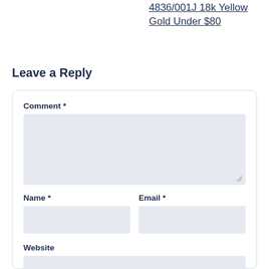4836/001J 18k Yellow Gold Under $80
Leave a Reply
Comment *
Name *
Email *
Website
Save my name, email, and website in this browser